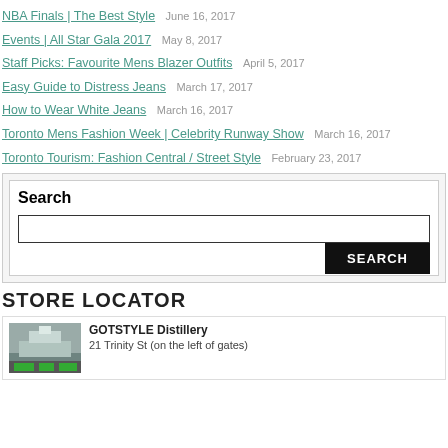NBA Finals | The Best Style   June 16, 2017
Events | All Star Gala 2017   May 8, 2017
Staff Picks: Favourite Mens Blazer Outfits   April 5, 2017
Easy Guide to Distress Jeans   March 17, 2017
How to Wear White Jeans   March 16, 2017
Toronto Mens Fashion Week | Celebrity Runway Show   March 16, 2017
Toronto Tourism: Fashion Central / Street Style   February 23, 2017
Search
STORE LOCATOR
GOTSTYLE Distillery
21 Trinity St (on the left of gates)